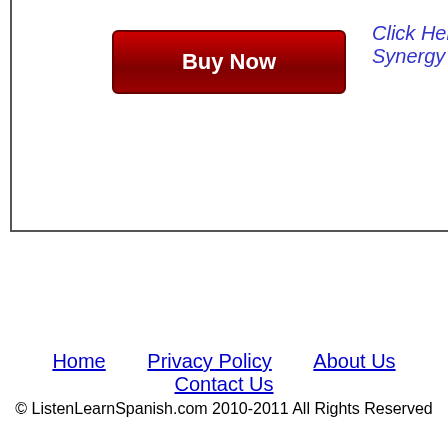[Figure (other): Buy Now button — red gradient rectangular button with white bold text 'Buy Now']
Click Here to C… Synergy Spanish
Home   Privacy Policy   About Us   Contact Us
© ListenLearnSpanish.com 2010-2011 All Rights Reserved